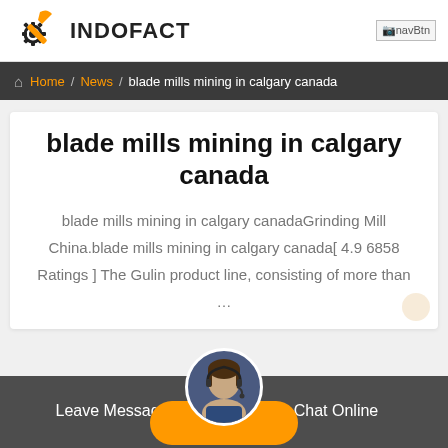INDOFACT
navBtn
Home / News / blade mills mining in calgary canada
blade mills mining in calgary canada
blade mills mining in calgary canadaGrinding Mill China.blade mills mining in calgary canada[ 4.9 6858 Ratings ] The Gulin product line, consisting of more than …
Leave Message
Chat Online